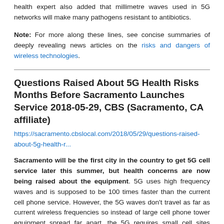health expert also added that millimetre waves used in 5G networks will make many pathogens resistant to antibiotics.
Note: For more along these lines, see concise summaries of deeply revealing news articles on the risks and dangers of wireless technologies.
Questions Raised About 5G Health Risks Months Before Sacramento Launches Service 2018-05-29, CBS (Sacramento, CA affiliate)
https://sacramento.cbslocal.com/2018/05/29/questions-raised-about-5g-health-r...
Sacramento will be the first city in the country to get 5G cell service later this summer, but health concerns are now being raised about the equipment. 5G uses high frequency waves and is supposed to be 100 times faster than the current cell phone service. However, the 5G waves don't travel as far as current wireless frequencies so instead of large cell phone tower equipment spread far apart, the 5G requires small cell sites closer together. The FCC does set exposure limits for cell site